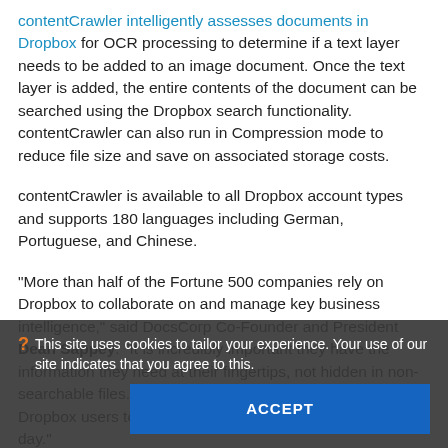contentCrawler intelligently assesses documents in Dropbox for OCR processing to determine if a text layer needs to be added to an image document. Once the text layer is added, the entire contents of the document can be searched using the Dropbox search functionality. contentCrawler can also run in Compression mode to reduce file size and save on associated storage costs.
contentCrawler is available to all Dropbox account types and supports 180 languages including German, Portuguese, and Chinese.
“More than half of the Fortune 500 companies rely on Dropbox to collaborate on and manage key business intelligence,” said DocsCorp Co-Founder and President Dean Sappey. “It is incredibly important they have the information they need at their fingertips, not hidden in non-searchable files. Searching without limits will empower Dropbox users to make better-informed decisions every day.”
This site uses cookies to tailor your experience. Your use of our site indicates that you agree to this.
ACCEPT